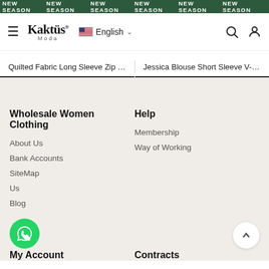NEW SEASON NEW SEASON NEW SEASON NEW SEASON NEW SEASON NEW SEASON
[Figure (logo): Kaktüs Moda logo with hamburger menu, English language selector, search icon and account icon]
Quilted Fabric Long Sleeve Zip N...
Jessica Blouse Short Sleeve V-N...
Wholesale Women Clothing
Help
About Us
Membership
Bank Accounts
Way of Working
SiteMap
Contact Us
Blog
My Account
Contracts